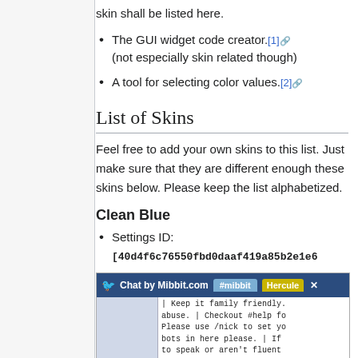skin shall be listed here.
The GUI widget code creator.[1] (not especially skin related though)
A tool for selecting color values.[2]
List of Skins
Feel free to add your own skins to this list. Just make sure that they are different enough these skins below. Please keep the list alphabetized.
Clean Blue
Settings ID: [40d4f6c76550fbd0daaf419a85b2e1e6
[Figure (screenshot): Screenshot of Mibbit chat widget showing Chat by Mibbit.com header bar with #mibbit tab and Hercule tab, and chat message area with text about keeping family friendly, mentioning #help link, /nick command, and translator.]